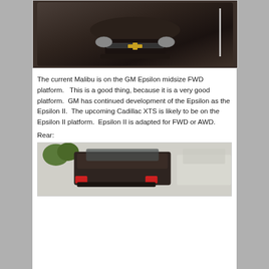[Figure (photo): Front view of a dark brown/gray Chevrolet Malibu sedan parked in a parking lot, taken from a slightly elevated angle showing the front grille, headlights, and hood. A white parking space line is visible on the right side.]
The current Malibu is on the GM Epsilon midsize FWD platform.   This is a good thing, because it is a very good platform.  GM has continued development of the Epsilon as the Epsilon II.  The upcoming Cadillac XTS is likely to be on the Epsilon II platform.  Epsilon II is adapted for FWD or AWD.
Rear:
[Figure (photo): Rear view of the dark brown Chevrolet Malibu parked next to a white vehicle, showing the trunk, rear taillights, and rear bumper area. Trees visible in the background.]